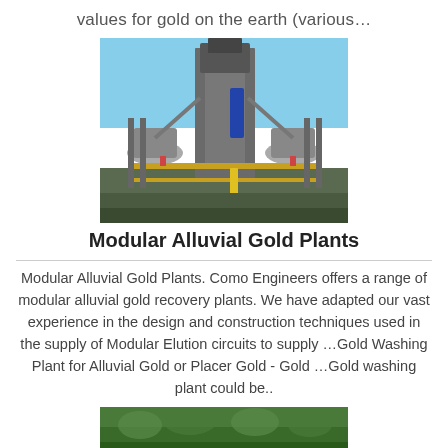values for gold on the earth (various…
[Figure (photo): Industrial modular alluvial gold processing plant with large metal framework, conveyor structures, and processing equipment under blue sky]
Modular Alluvial Gold Plants
Modular Alluvial Gold Plants. Como Engineers offers a range of modular alluvial gold recovery plants. We have adapted our vast experience in the design and construction techniques used in the supply of Modular Elution circuits to supply …Gold Washing Plant for Alluvial Gold or Placer Gold - Gold …Gold washing plant could be..
[Figure (photo): Partial view of green landscape or vegetation, bottom of page]